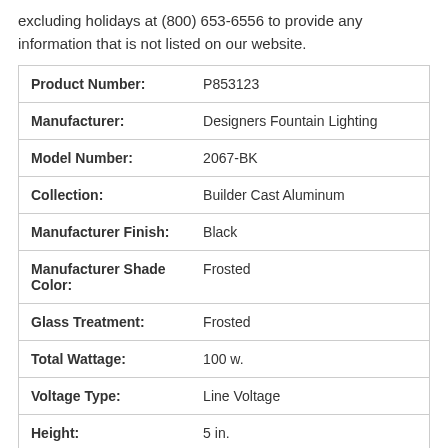excluding holidays at (800) 653-6556 to provide any information that is not listed on our website.
| Attribute | Value |
| --- | --- |
| Product Number: | P853123 |
| Manufacturer: | Designers Fountain Lighting |
| Model Number: | 2067-BK |
| Collection: | Builder Cast Aluminum |
| Manufacturer Finish: | Black |
| Manufacturer Shade Color: | Frosted |
| Glass Treatment: | Frosted |
| Total Wattage: | 100 w. |
| Voltage Type: | Line Voltage |
| Height: | 5 in. |